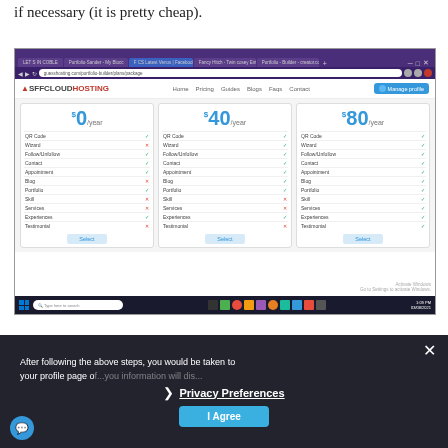if necessary (it is pretty cheap).
[Figure (screenshot): Screenshot of a web browser showing a web hosting pricing page with three pricing tiers: $0/year, $40/year, and $80/year, each with a feature comparison list and a Select button. Browser has a purple theme. A Windows taskbar is visible at the bottom.]
After following the above steps, you would be taken to your profile page of...you information will dis...
[Figure (screenshot): Privacy Preferences cookie consent banner overlay with dark background, showing a 'Privacy Preferences' link with arrow, an 'I Agree' button, and a close (X) button. A blue chat bubble is visible at bottom left.]